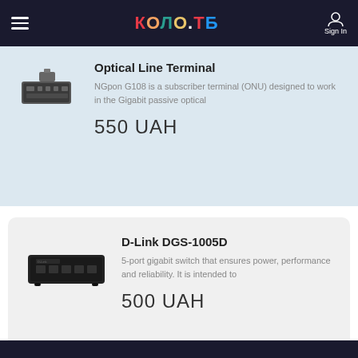КОЛО.ТБ — navigation bar with hamburger menu and Sign In
Optical Line Terminal
NGpon G108 is a subscriber terminal (ONU) designed to work in the Gigabit passive optical
550 UAH
D-Link DGS-1005D
5-port gigabit switch that ensures power, performance and reliability. It is intended to
500 UAH